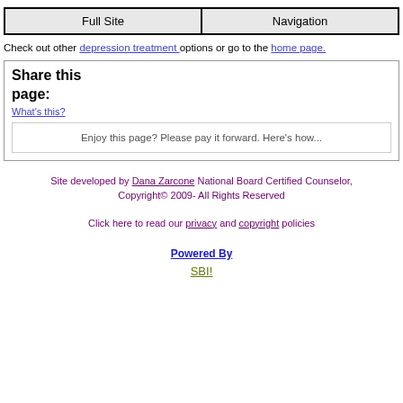Full Site | Navigation
Check out other depression treatment options or go to the home page.
Share this page:
What's this?
Enjoy this page? Please pay it forward. Here's how...
Site developed by Dana Zarcone National Board Certified Counselor, Copyright© 2009- All Rights Reserved
Click here to read our privacy and copyright policies
Powered By
SBI!